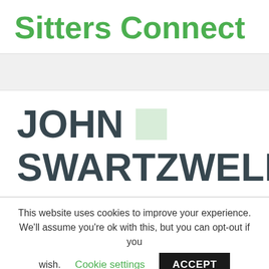Sitters Connect
JOHN SWARTZWELD
This website uses cookies to improve your experience. We'll assume you're ok with this, but you can opt-out if you wish. Cookie settings ACCEPT